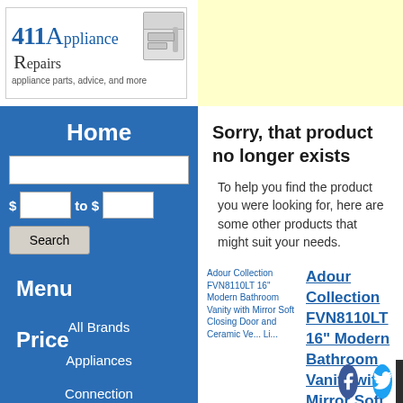[Figure (logo): 411 Appliance Repairs logo with text 'appliance parts, advice, and more' and a refrigerator image]
Home
$ to $
Menu
All Brands
Appliances
Connection
Price
Sorry, that product no longer exists
To help you find the product you were looking for, here are some other products that might suit your needs.
[Figure (screenshot): Product image placeholder for Adour Collection FVN8110LT 16" Modern Bathroom Vanity with Mirror Soft Closing Door and Ceramic Ve... Li...]
Adour Collection FVN8110LT 16" Modern Bathroom Vanity with Mirror Soft Closing Door and Ceramic Vanity with Mirror Soft Closing Door